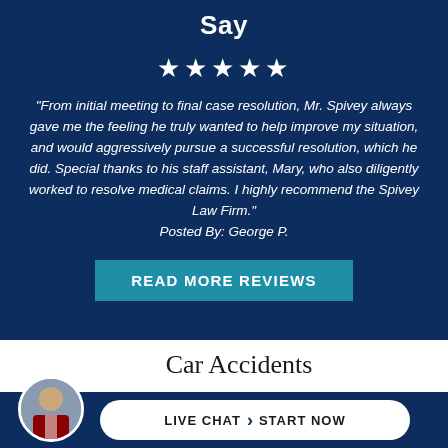Say
[Figure (other): Five white star rating icons]
"From initial meeting to final case resolution, Mr. Spivey always gave me the feeling he truly wanted to help improve my situation, and would aggressively pursue a successful resolution, which he did. Special thanks to his staff assistant, Mary, who also diligently worked to resolve medical claims. I highly recommend the Spivey Law Firm." Posted By: George P.
READ MORE REVIEWS
Car Accidents
LIVE CHAT  START NOW